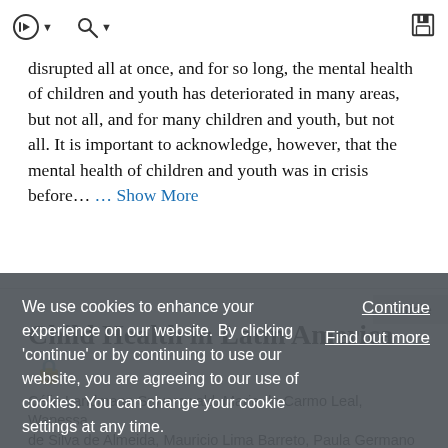toolbar with navigation icons
disrupted all at once, and for so long, the mental health of children and youth has deteriorated in many areas, but not all, and for many children and youth, but not all. It is important to acknowledge, however, that the mental health of children and youth was in crisis before... ... Show More
Article
Child Health in Latin America
Célia Landmann Szwarcwald, Maria do Carmo Leal, Wanessa de Silva de Almeida, Mauricio Lima Barreto, Paulo Germano...
We use cookies to enhance your experience on our website. By clicking 'continue' or by continuing to use our website, you are agreeing to our use of cookies. You can change your cookie settings at any time.